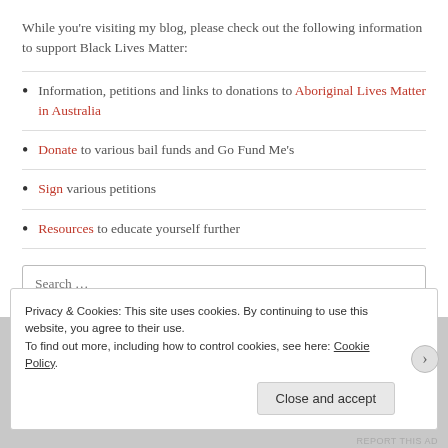While you're visiting my blog, please check out the following information to support Black Lives Matter:
Information, petitions and links to donations to Aboriginal Lives Matter in Australia
Donate to various bail funds and Go Fund Me's
Sign various petitions
Resources to educate yourself further
Search …
Privacy & Cookies: This site uses cookies. By continuing to use this website, you agree to their use. To find out more, including how to control cookies, see here: Cookie Policy
Close and accept